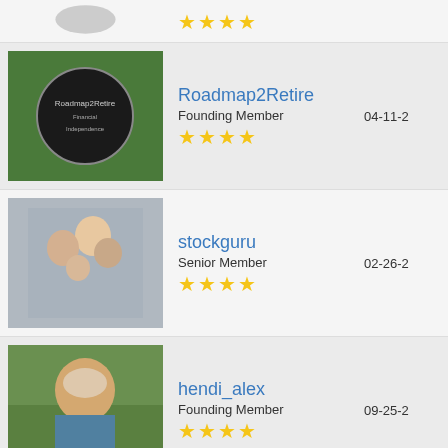Roadmap2Retire | Founding Member | 4 stars | 04-11-2
stockguru | Senior Member | 4 stars | 02-26-2
hendi_alex | Founding Member | 4 stars | 09-25-2
rapidacid | Founding Member | 4 stars | 05-06-2
rnsmth | Founding Member | 4 stars | 12-15-2
kblake